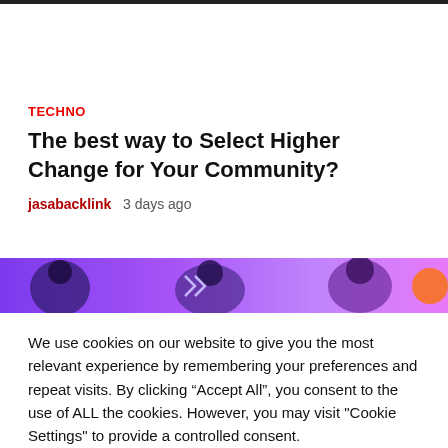TECHNO
The best way to Select Higher Change for Your Community?
jasabacklink   3 days ago
[Figure (photo): Banner image with purple/violet background showing stylized figures or characters]
We use cookies on our website to give you the most relevant experience by remembering your preferences and repeat visits. By clicking “Accept All”, you consent to the use of ALL the cookies. However, you may visit "Cookie Settings" to provide a controlled consent.